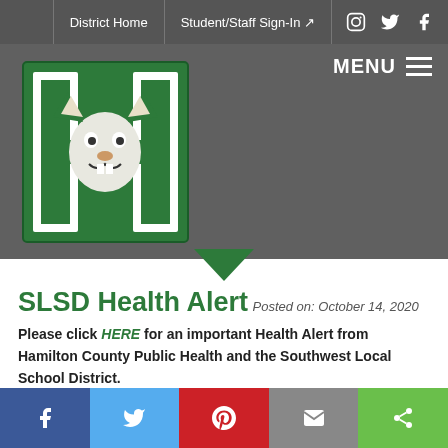District Home | Student/Staff Sign-In
[Figure (logo): Hamilton/Southwest Local School District logo — green H with wildcat mascot]
SLSD Health Alert
Posted on: October 14, 2020
Please click HERE for an important Health Alert from Hamilton County Public Health and the Southwest Local School District.
read more ...
[Figure (illustration): Partial view of a black line drawing/map shape at the bottom of the content area]
Social share bar: Facebook, Twitter, Pinterest, Email, Share